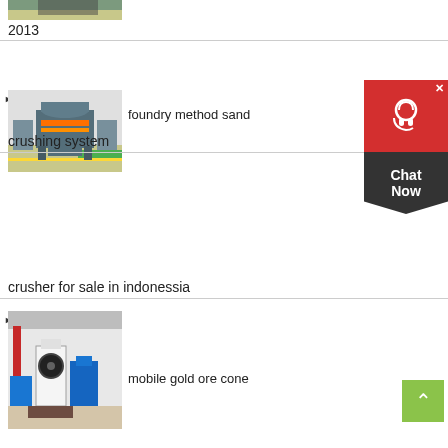[Figure (photo): Partial image of industrial machinery on factory floor, 2013]
2013
[Figure (photo): Large cone/VSI crusher machine in industrial factory setting]
foundry method sand
crushing system
[Figure (photo): Raymond mill / grinding machine with blue blower fan in factory]
mobile gold ore cone
crusher for sale in indonessia
[Figure (photo): Cone crusher machine in factory, partially visible]
maintenance free linear
[Figure (infographic): Red chat support widget with headset icon and Chat Now label]
[Figure (infographic): Green back-to-top button with upward arrow]